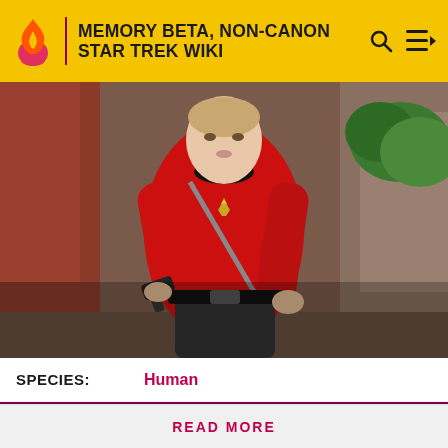MEMORY BETA, NON-CANON STAR TREK WIKI
[Figure (photo): A man in a red Star Trek uniform holding a phaser, running outdoors near rocks and foliage.]
SPECIES: Human
A friendly reminder regarding spoilers! At present the expanded Trek universe is in a period of major upheaval with
READ MORE